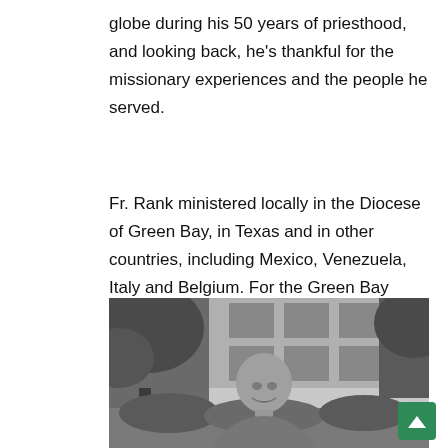globe during his 50 years of priesthood, and looking back, he's thankful for the missionary experiences and the people he served.
Fr. Rank ministered locally in the Diocese of Green Bay, in Texas and in other countries, including Mexico, Venezuela, Italy and Belgium. For the Green Bay native, serving in these varied locations allowed him to interact with different demographics of people.
[Figure (photo): Black and white photograph of Fr. Rank smiling outdoors, with trees and a brick building visible in the background.]